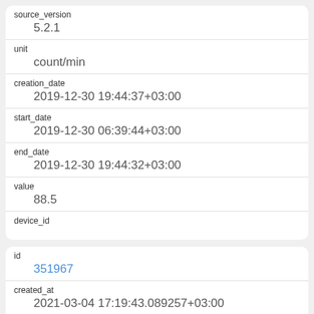| field | value |
| --- | --- |
| source_version | 5.2.1 |
| unit | count/min |
| creation_date | 2019-12-30 19:44:37+03:00 |
| start_date | 2019-12-30 06:39:44+03:00 |
| end_date | 2019-12-30 19:44:32+03:00 |
| value | 88.5 |
| device_id |  |
| field | value |
| --- | --- |
| id | 351967 |
| created_at | 2021-03-04 17:19:43.089257+03:00 |
| updated_at | 2021-03-04 17:19:43.089257+03:00 |